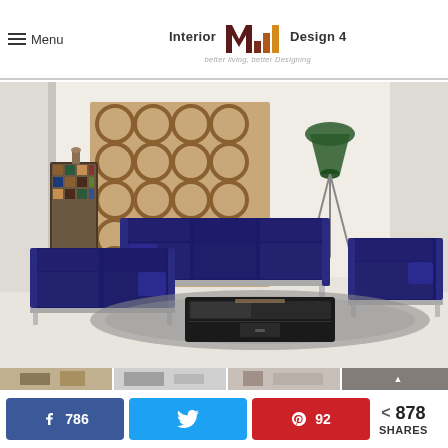Menu | Interior Design 4 — better living, better Designing
[Figure (photo): Interior design photo showing a modern living room with navy blue velvet sofas (3-seater, loveseat, and armchair) with chrome/silver metal frames, a dark coffee table on a gray shag rug, a decorative circular-pattern room divider/screen, a tripod floor lamp, and mosaic cabinet in background. White walls and bright airy space. Below the main image are thumbnail previews of related images.]
786
92
878 SHARES